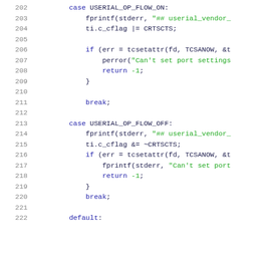[Figure (screenshot): Source code listing showing C code lines 202-222, with line numbers in gray on the left, keywords in dark blue, and string literals in green. Contains two switch cases: USERIAL_OP_FLOW_ON and USERIAL_OP_FLOW_OFF, each with fprintf, ti.c_cflag assignments, tcsetattr calls, error handling, and break statements, followed by a default case.]